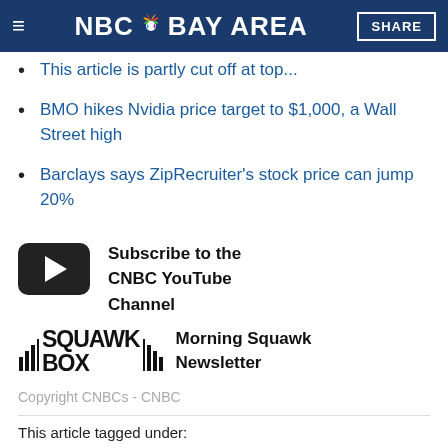NBC Bay Area
BMO hikes Nvidia price target to $1,000, a Wall Street high
Barclays says ZipRecruiter's stock price can jump 20%
[Figure (logo): YouTube subscribe button icon — black rounded rectangle with white play triangle]
Subscribe to the CNBC YouTube Channel
[Figure (logo): Squawk Box logo with bar chart decorations]
Morning Squawk Newsletter
Copyright CNBCs - CNBC
This article tagged under:
DONALD TRUMP · BUSINESS · UNITED STATES · POLITICS ·